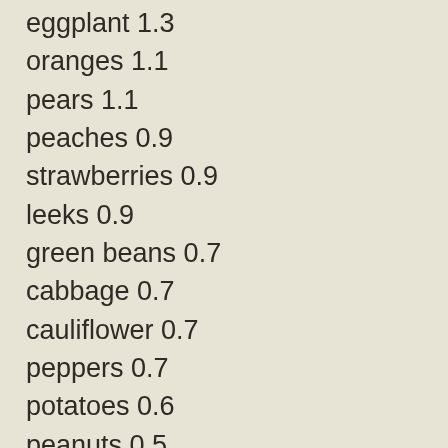eggplant 1.3
oranges 1.1
pears 1.1
peaches 0.9
strawberries 0.9
leeks 0.9
green beans 0.7
cabbage 0.7
cauliflower 0.7
peppers 0.7
potatoes 0.6
peanuts 0.5
asparagus 0.5
celery 0.5
spinach 0.5
sweet potatoes 0.5
turnips 0.5
tomatoes 0.4
apple 0.3
melons 0.3